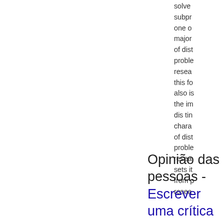solve subpr one o major of dist proble resea this fo also is the im dis tin chara of dist proble resea sets it from p resea
Opinião das pessoas - Escrever uma crítica